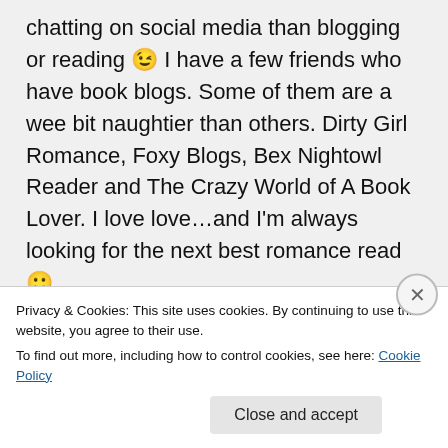chatting on social media than blogging or reading 😉 I have a few friends who have book blogs. Some of them are a wee bit naughtier than others. Dirty Girl Romance, Foxy Blogs, Bex Nightowl Reader and The Crazy World of A Book Lover. I love love...and I'm always looking for the next best romance read 🙂
★ Like
Privacy & Cookies: This site uses cookies. By continuing to use this website, you agree to their use. To find out more, including how to control cookies, see here: Cookie Policy
Close and accept